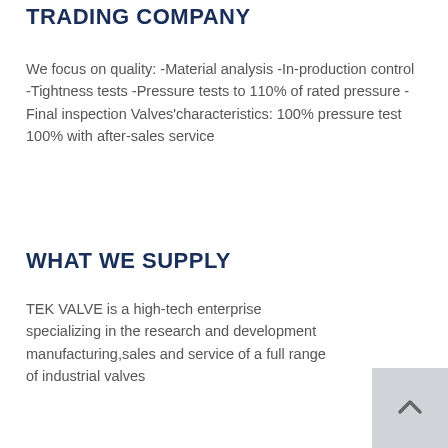TRADING COMPANY
We focus on quality: -Material analysis -In-production control -Tightness tests -Pressure tests to 110% of rated pressure -Final inspection Valves'characteristics: 100% pressure test 100% with after-sales service
WHAT WE SUPPLY
TEK VALVE is a high-tech enterprise specializing in the research and development manufacturing,sales and service of a full range of industrial valves